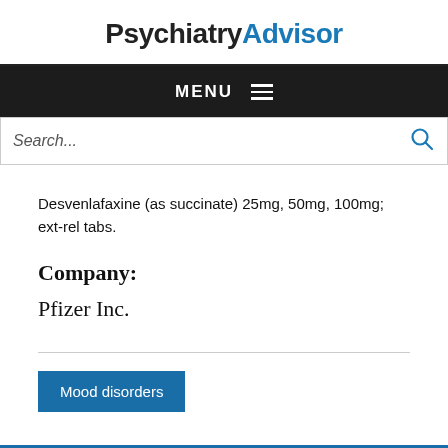PsychiatryAdvisor
MENU
Search...
Desvenlafaxine (as succinate) 25mg, 50mg, 100mg; ext-rel tabs.
Company:
Pfizer Inc.
Mood disorders